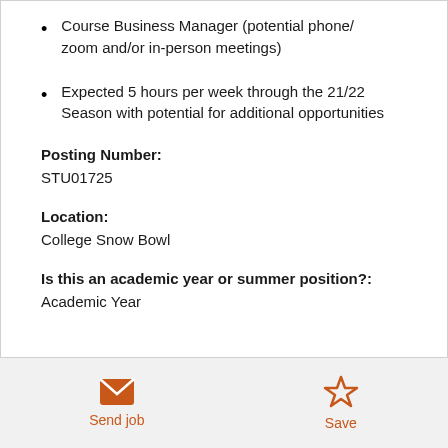Course Business Manager (potential phone/zoom and/or in-person meetings)
Expected 5 hours per week through the 21/22 Season with potential for additional opportunities
Posting Number:
STU01725
Location:
College Snow Bowl
Is this an academic year or summer position?:
Academic Year
Send job   Save